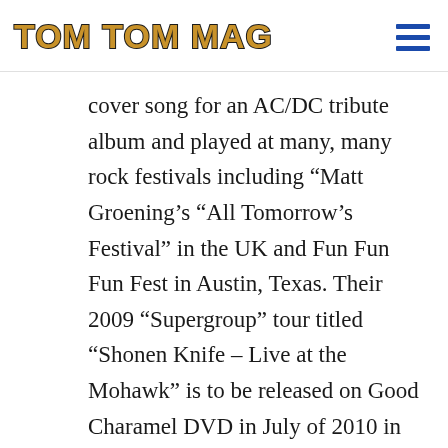TOM TOM MAG
cover song for an AC/DC tribute album and played at many, many rock festivals including “Matt Groening’s “All Tomorrow’s Festival” in the UK and Fun Fun Fun Fest in Austin, Texas. Their 2009 “Supergroup” tour titled “Shonen Knife – Live at the Mohawk” is to be released on Good Charamel DVD in July of 2010 in the USA.